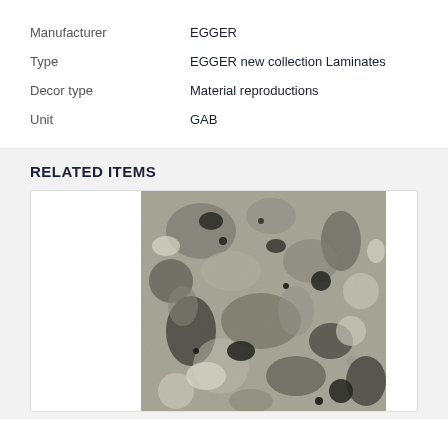Manufacturer	EGGER
Type	EGGER new collection Laminates
Decor type	Material reproductions
Unit	GAB
RELATED ITEMS
[Figure (photo): Stone/terrazzo texture material sample photo with grey and dark tones]